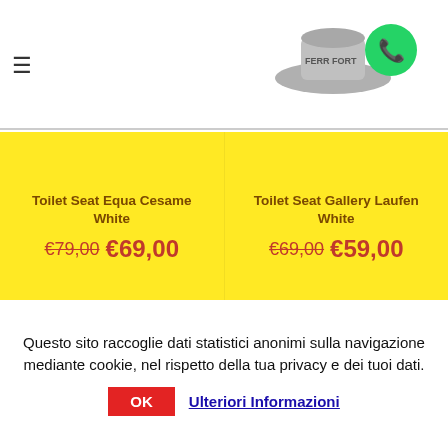≡ [FERR FORT logo with WhatsApp icon]
Toilet Seat Equa Cesame White
€79,00 €69,00
Toilet Seat Gallery Laufen White
€69,00 €59,00
-14%
-10%
Questo sito raccoglie dati statistici anonimi sulla navigazione mediante cookie, nel rispetto della tua privacy e dei tuoi dati.
OK  Ulteriori Informazioni